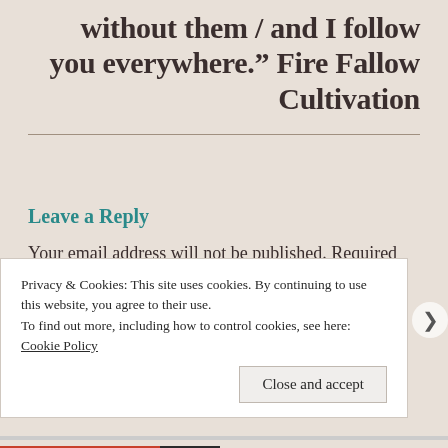without them / and I follow you everywhere." Fire Fallow Cultivation
Leave a Reply
Your email address will not be published. Required fields are marked *
Privacy & Cookies: This site uses cookies. By continuing to use this website, you agree to their use.
To find out more, including how to control cookies, see here: Cookie Policy
Close and accept